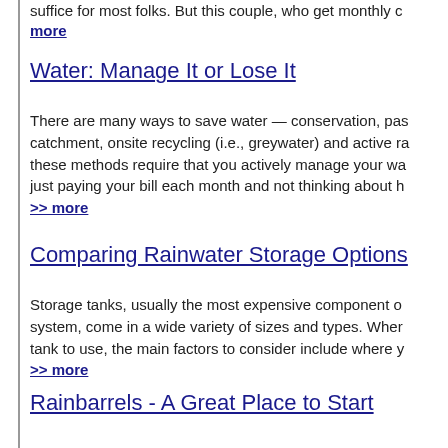suffice for most folks. But this couple, who get monthly c... >> more
Water: Manage It or Lose It
There are many ways to save water — conservation, passive catchment, onsite recycling (i.e., greywater) and active ra... these methods require that you actively manage your wa... just paying your bill each month and not thinking about h... >> more
Comparing Rainwater Storage Options
Storage tanks, usually the most expensive component o... system, come in a wide variety of sizes and types. Wher... tank to use, the main factors to consider include where y... >> more
Rainbarrels - A Great Place to Start
These days rain barrels are very easy to acquire for cato... garden and landscape stores stock them in a wide variety... shapes. Not only can sizes and materials vary but also th... days of plain, brown or green food-grade barrels. >> mo...
Save Energy, Save Water, and Be Smart
Many of us want to live more sustainably and yet feel ov...